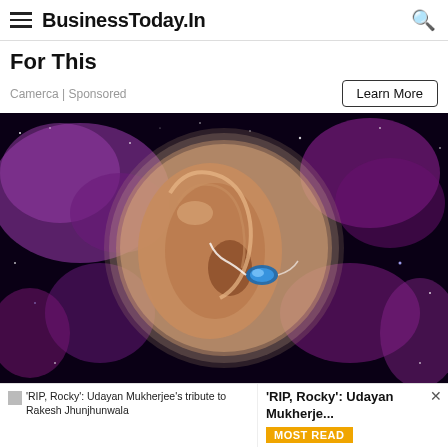BusinessToday.In
For This
Camerca | Sponsored
Learn More
[Figure (illustration): Close-up illustration of a human ear with a small blue hearing device placed inside the ear canal, set against a purple cosmic/galaxy background with stars and nebulae.]
'RIP, Rocky': Udayan Mukherjee's tribute to Rakesh Jhunjhunwala
'RIP, Rocky': Udayan Mukherje...
MOST READ